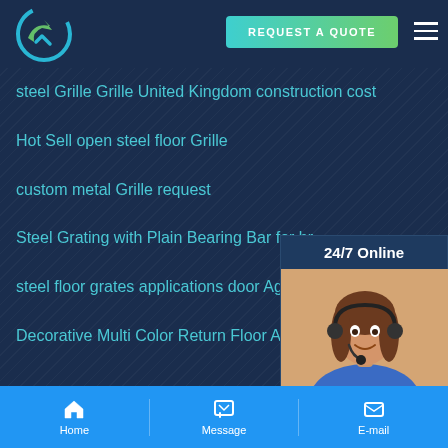[Figure (logo): Circular logo with blue and green arrow shapes on dark blue background]
REQUEST A QUOTE
steel Grille Grille United Kingdom construction cost
Hot Sell open steel floor Grille
custom metal Grille request
Steel Grating with Plain Bearing Bar for br...
steel floor grates applications door Agent...
Decorative Multi Color Return Floor Air Gri...
[Figure (photo): Woman with headset smiling, customer service representative]
24/7 Online
Have any requests, click here.
Quotation
Home
Message
E-mail